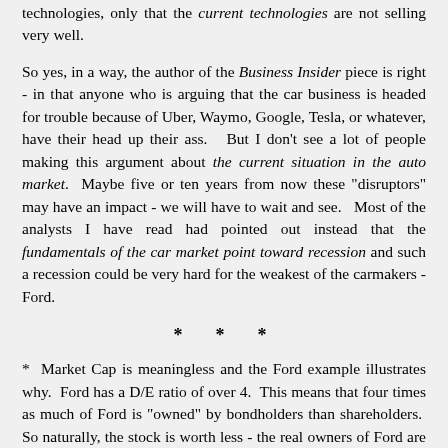technologies, only that the current technologies are not selling very well.
So yes, in a way, the author of the Business Insider piece is right - in that anyone who is arguing that the car business is headed for trouble because of Uber, Waymo, Google, Tesla, or whatever, have their head up their ass.   But I don't see a lot of people making this argument about the current situation in the auto market.  Maybe five or ten years from now these "disruptors" may have an impact - we will have to wait and see.   Most of the analysts I have read had pointed out instead that the fundamentals of the car market point toward recession and such a recession could be very hard for the weakest of the carmakers - Ford.
* * *
* Market Cap is meaningless and the Ford example illustrates why.  Ford has a D/E ratio of over 4.  This means that four times as much of Ford is "owned" by bondholders than shareholders.  So naturally, the stock is worth less - the real owners of Ford are the lenders.  If you don't believe this